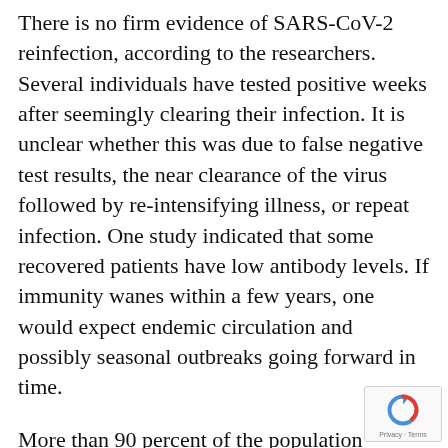There is no firm evidence of SARS-CoV-2 reinfection, according to the researchers. Several individuals have tested positive weeks after seemingly clearing their infection. It is unclear whether this was due to false negative test results, the near clearance of the virus followed by re-intensifying illness, or repeat infection. One study indicated that some recovered patients have low antibody levels. If immunity wanes within a few years, one would expect endemic circulation and possibly seasonal outbreaks going forward in time.
More than 90 percent of the population presents a baseline level of antibodies against the endemic coronaviruses
[Figure (logo): reCAPTCHA badge with spinning arrow logo and 'Privacy · Terms' text]